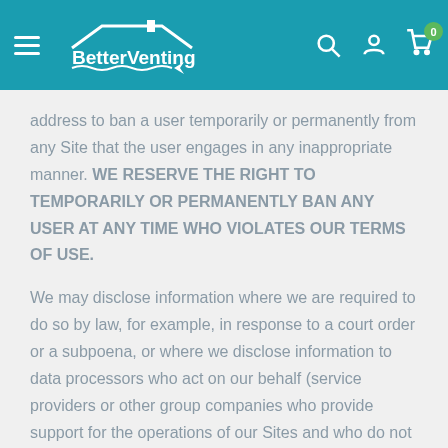BetterVenting
address to ban a user temporarily or permanently from any Site that the user engages in any inappropriate manner. WE RESERVE THE RIGHT TO TEMPORARILY OR PERMANENTLY BAN ANY USER AT ANY TIME WHO VIOLATES OUR TERMS OF USE.
We may disclose information where we are required to do so by law, for example, in response to a court order or a subpoena, or where we disclose information to data processors who act on our behalf (service providers or other group companies who provide support for the operations of our Sites and who do not use or disclose the information for any other purpose). To the extent permitted by applicable law, we also may disclose personally identifiable information in